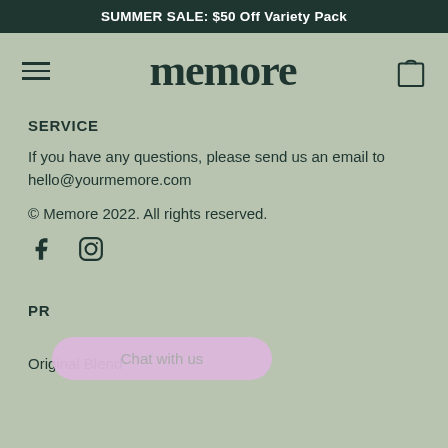SUMMER SALE: $50 Off Variety Pack
[Figure (logo): Memore brand logo with hamburger menu and shopping bag icon]
SERVICE
If you have any questions, please send us an email to hello@yourmemore.com
© Memore 2022. All rights reserved.
[Figure (illustration): Facebook and Instagram social media icons]
PR
Original Blend
[Figure (other): Chat with us button/bubble overlay in lavender color]